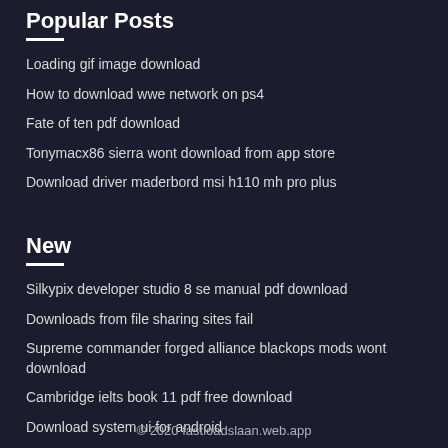Popular Posts
Loading gif image download
How to download wwe network on ps4
Fate of ten pdf download
Tonymacx86 sierra wont download from app store
Download driver maderbord msi h110 mh pro plus
New
Silkypix developer studio 8 se manual pdf download
Downloads from file sharing sites fail
Supreme commander forged alliance blackops mods wont download
Cambridge ielts book 11 pdf free download
Download system ui for android
© 2020 fastloadslaan.web.app